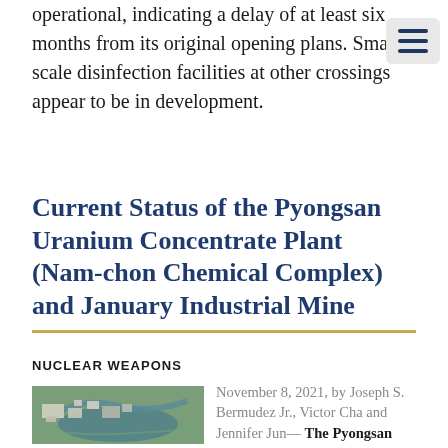operational, indicating a delay of at least six months from its original opening plans. Small-scale disinfection facilities at other crossings appear to be in development.
Current Status of the Pyongsan Uranium Concentrate Plant (Nam-chon Chemical Complex) and January Industrial Mine
NUCLEAR WEAPONS
[Figure (photo): Satellite aerial image of the Pyongsan Uranium Concentrate Plant facility, showing industrial buildings and a river running alongside.]
November 8, 2021, by Joseph S. Bermudez Jr., Victor Cha and Jennifer Jun— The Pyongsan Uranium Concentrate Plant remains the sole verified producer of uranium